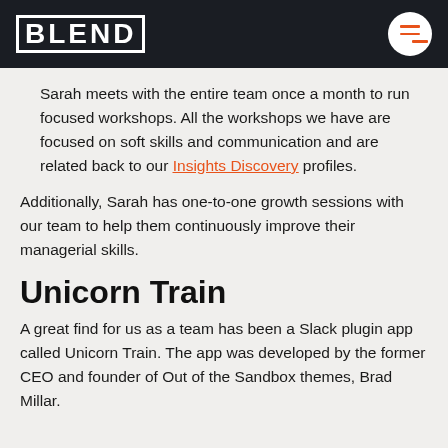BLEND
Sarah meets with the entire team once a month to run focused workshops. All the workshops we have are focused on soft skills and communication and are related back to our Insights Discovery profiles.
Additionally, Sarah has one-to-one growth sessions with our team to help them continuously improve their managerial skills.
Unicorn Train
A great find for us as a team has been a Slack plugin app called Unicorn Train. The app was developed by the former CEO and founder of Out of the Sandbox themes, Brad Millar.